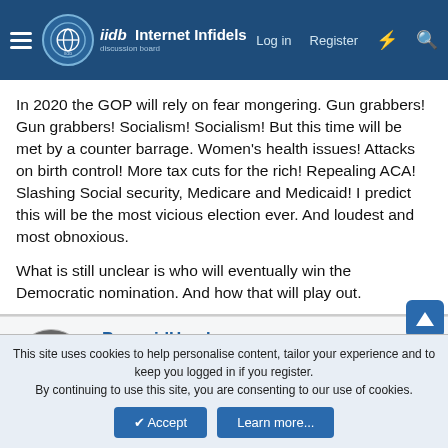Internet Infidels - Log in | Register
In 2020 the GOP will rely on fear mongering. Gun grabbers! Gun grabbers! Socialism! Socialism! But this time will be met by a counter barrage. Women's health issues! Attacks on birth control! More tax cuts for the rich! Repealing ACA! Slashing Social security, Medicare and Medicaid! I predict this will be the most vicious election ever. And loudest and most obnoxious.

What is still unclear is who will eventually win the Democratic nomination. And how that will play out.
PyramidHead
Contributor
Joined: Aug 15, 2005
Messages: 5,080
Location: RI
Basic Beliefs: Marxist-Leninist
This site uses cookies to help personalise content, tailor your experience and to keep you logged in if you register.
By continuing to use this site, you are consenting to our use of cookies.